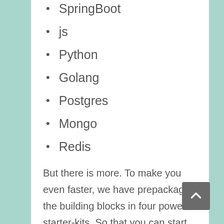SpringBoot
js
Python
Golang
Postgres
Mongo
Redis
But there is more. To make you even faster, we have prepackaged the building blocks in four powerful starter-kits. So that you can start with a complete and functional shell for REST services:
Java / Postgres